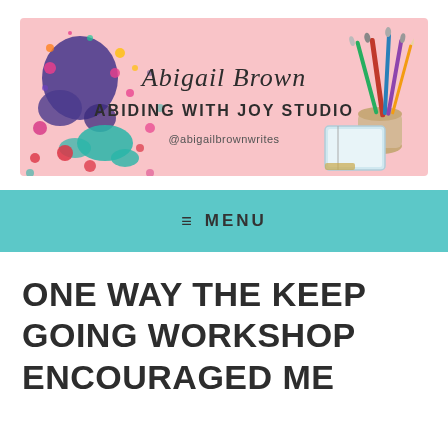[Figure (illustration): Banner for Abigail Brown Abiding With Joy Studio. Pink background with colorful paint splatter on the left, art brushes in a cup on the right, a small tablet/notebook, script text reading 'Abigail Brown', bold text 'ABIDING WITH JOY STUDIO', and '@abigailbrownwrites' below.]
≡  MENU
ONE WAY THE KEEP GOING WORKSHOP ENCOURAGED ME